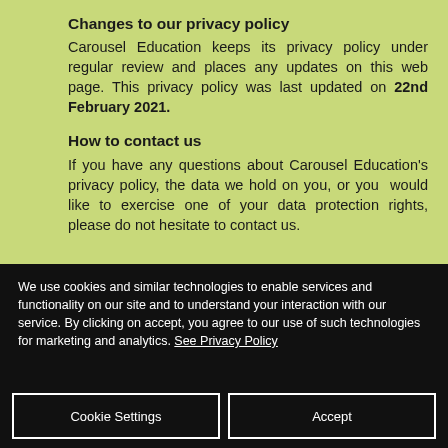Changes to our privacy policy
Carousel Education keeps its privacy policy under regular review and places any updates on this web page. This privacy policy was last updated on 22nd February 2021.
How to contact us
If you have any questions about Carousel Education’s privacy policy, the data we hold on you, or you would like to exercise one of your data protection rights, please do not hesitate to contact us.
We use cookies and similar technologies to enable services and functionality on our site and to understand your interaction with our service. By clicking on accept, you agree to our use of such technologies for marketing and analytics. See Privacy Policy